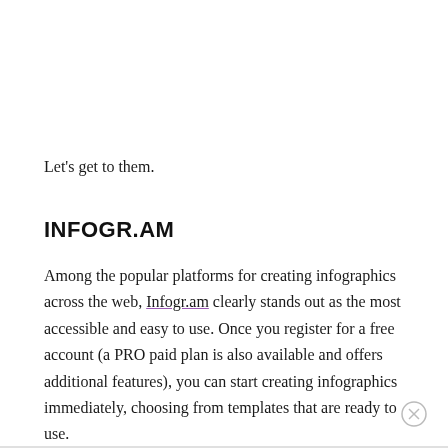Let's get to them.
INFOGR.AM
Among the popular platforms for creating infographics across the web, Infogr.am clearly stands out as the most accessible and easy to use. Once you register for a free account (a PRO paid plan is also available and offers additional features), you can start creating infographics immediately, choosing from templates that are ready to use.